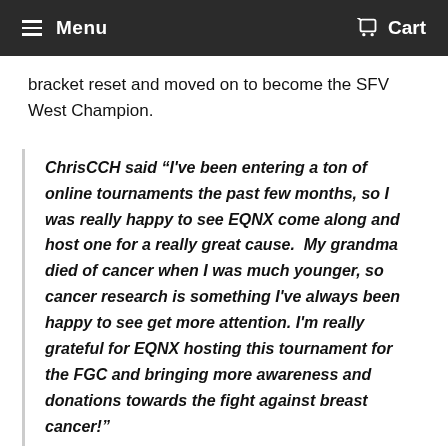Menu  Cart
bracket reset and moved on to become the SFV West Champion.
ChrisCCH said "I've been entering a ton of online tournaments the past few months, so I was really happy to see EQNX come along and host one for a really great cause.  My grandma died of cancer when I was much younger, so cancer research is something I've always been happy to see get more attention. I'm really grateful for EQNX hosting this tournament for the FGC and bringing more awareness and donations towards the fight against breast cancer!"